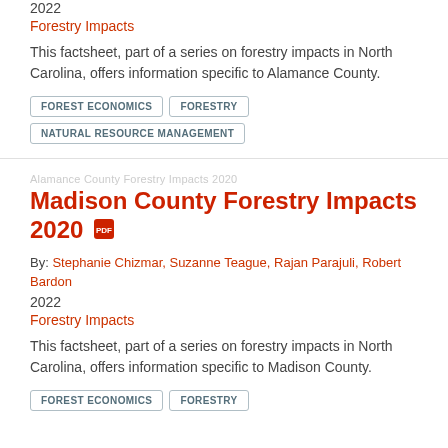2022
Forestry Impacts
This factsheet, part of a series on forestry impacts in North Carolina, offers information specific to Alamance County.
FOREST ECONOMICS
FORESTRY
NATURAL RESOURCE MANAGEMENT
Madison County Forestry Impacts 2020
By: Stephanie Chizmar, Suzanne Teague, Rajan Parajuli, Robert Bardon
2022
Forestry Impacts
This factsheet, part of a series on forestry impacts in North Carolina, offers information specific to Madison County.
FOREST ECONOMICS
FORESTRY